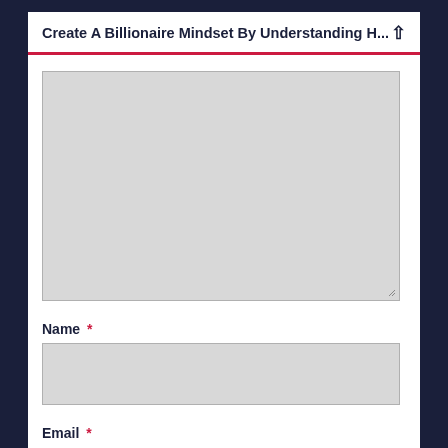Create A Billionaire Mindset By Understanding H...
[Figure (other): Large gray textarea input box with resize handle at bottom right]
Name *
[Figure (other): Gray text input box for Name field]
Email *